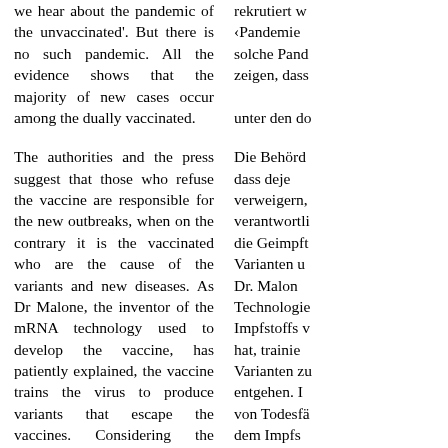we hear about the pandemic of the unvaccinated'. But there is no such pandemic. All the evidence shows that the majority of new cases occur among the dually vaccinated.
The authorities and the press suggest that those who refuse the vaccine are responsible for the new outbreaks, when on the contrary it is the vaccinated who are the cause of the variants and new diseases. As Dr Malone, the inventor of the mRNA technology used to develop the vaccine, has patiently explained, the vaccine trains the virus to produce variants that escape the vaccines. Considering the enormous number of deaths and injuries associated with the vaccine, we must conclude that the vaccine is giving the vaccinated covid diseases. Some have severe symptoms, some die, others don't know they
rekrutiert w‹Pandemie solche Pand zeigen, dass unter den do
Die Behörd dass deje verweigern, verantwortli die Geimpft Varianten u Dr. Malon Technologie Impfstoffs v hat, trainie Varianten zu entgehen. I von Todesfä dem Impfs